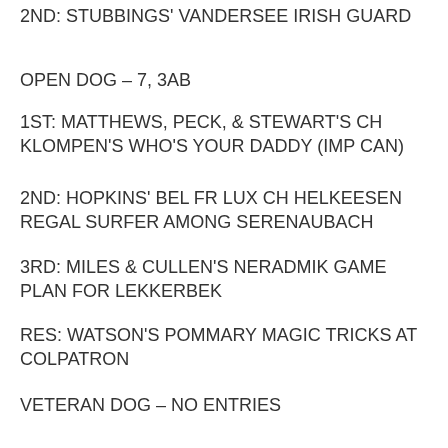2ND: STUBBINGS' VANDERSEE IRISH GUARD
OPEN DOG – 7, 3AB
1ST: MATTHEWS, PECK, & STEWART'S CH KLOMPEN'S WHO'S YOUR DADDY (IMP CAN)
2ND: HOPKINS' BEL FR LUX CH HELKEESEN REGAL SURFER AMONG SERENAUBACH
3RD: MILES & CULLEN'S NERADMIK GAME PLAN FOR LEKKERBEK
RES: WATSON'S POMMARY MAGIC TRICKS AT COLPATRON
VETERAN DOG – NO ENTRIES
PUPPY BITCH – 3
1ST: TONKS & ATKINSON'S WINKLESTAR